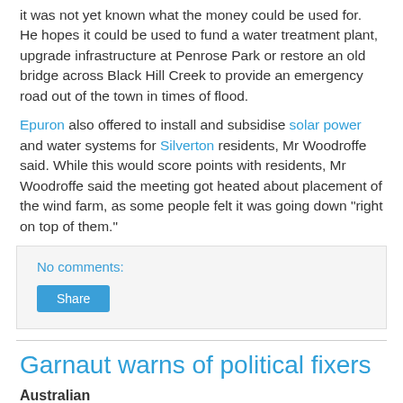it was not yet known what the money could be used for. He hopes it could be used to fund a water treatment plant, upgrade infrastructure at Penrose Park or restore an old bridge across Black Hill Creek to provide an emergency road out of the town in times of flood.
Epuron also offered to install and subsidise solar power and water systems for Silverton residents, Mr Woodroffe said. While this would score points with residents, Mr Woodroffe said the meeting got heated about placement of the wind farm, as some people felt it was going down "right on top of them."
No comments:
[Figure (other): Share button]
Garnaut warns of political fixers
Australian
Friday 28/3/2008 Page: 1